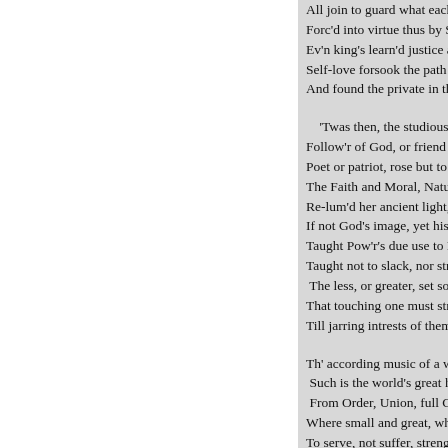All join to guard what each desires to gain.
Forc'd into virtue thus by Self-defense,
Ev'n king's learn'd justice and benevolence:
Self-love forsook the path it first pursu'd,
And found the private in the public good.

'Twas then, the studious head or gen'rous mind,
Follow'r of God, or friend of human-kind,
Poet or patriot, rose but to restore
The Faith and Moral, Nature gave before;
Re-lum'd her ancient light, not kindled new;
If not God's image, yet his shadow drew;
Taught Pow'r's due use to People and to Kings;
Taught not to slack, nor strain its tender strings,
 The less, or greater, set so justly true,
That touching one must strike the other too;
Till jarring intrests of themselves create

Th' according music of a well-mix'd State.
 Such is the world's great harmony, that springs
 From Order, Union, full Consent of things!
Where small and great, where weak and mighty, made
To serve, not suffer, strengthen, not invade;
More pow'rful each as needful to the rest,